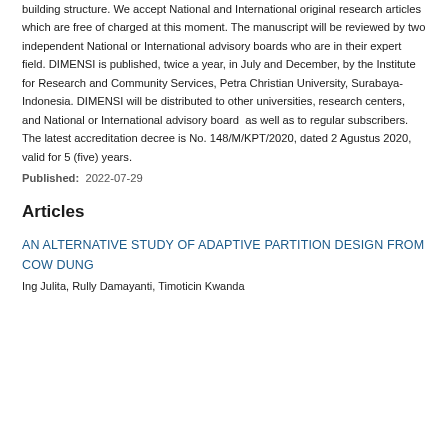building structure. We accept National and International original research articles which are free of charged at this moment. The manuscript will be reviewed by two independent National or International advisory boards who are in their expert field. DIMENSI is published, twice a year, in July and December, by the Institute for Research and Community Services, Petra Christian University, Surabaya-Indonesia. DIMENSI will be distributed to other universities, research centers, and National or International advisory board  as well as to regular subscribers. The latest accreditation decree is No. 148/M/KPT/2020, dated 2 Agustus 2020, valid for 5 (five) years.
Published:  2022-07-29
Articles
AN ALTERNATIVE STUDY OF ADAPTIVE PARTITION DESIGN FROM COW DUNG
Ing Julita, Rully Damayanti, Timoticin Kwanda